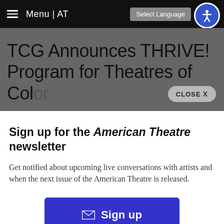Menu | AT  |  Select Language
TCG Announces THRIVE! Program for Theatres of Color
Sign up for the American Theatre newsletter
Get notified about upcoming live conversations with artists and when the next issue of the American Theatre is released.
Sign up